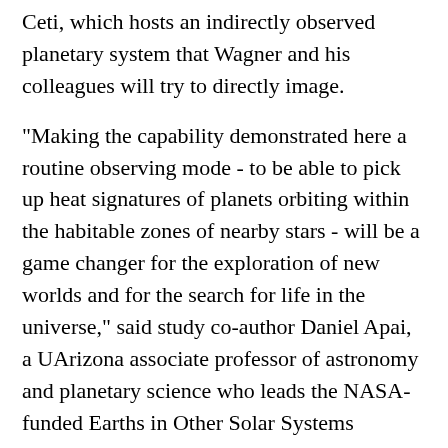Ceti, which hosts an indirectly observed planetary system that Wagner and his colleagues will try to directly image.
"Making the capability demonstrated here a routine observing mode - to be able to pick up heat signatures of planets orbiting within the habitable zones of nearby stars - will be a game changer for the exploration of new worlds and for the search for life in the universe," said study co-author Daniel Apai, a UArizona associate professor of astronomy and planetary science who leads the NASA-funded Earths in Other Solar Systems program that partly supported the study.
-end-
Funding for NEAR was provided primarily by the Breakthrough Watch program and the European Southern Observatory (ESO). Breakthrough Watch is managed by the Breakthrough Initiatives, sponsored by the Breakthrough Foundation. Breakthrough Watch provided the instrument